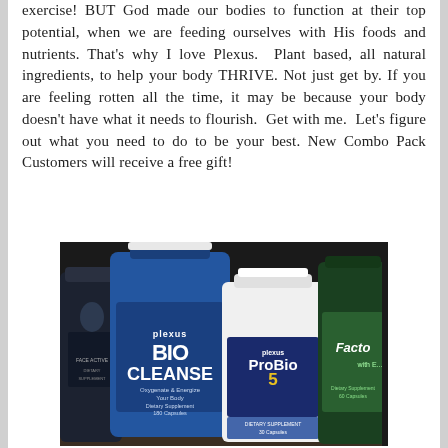exercise! BUT God made our bodies to function at their top potential, when we are feeding ourselves with His foods and nutrients. That's why I love Plexus.  Plant based, all natural ingredients, to help your body THRIVE. Not just get by. If you are feeling rotten all the time, it may be because your body doesn't have what it needs to flourish.  Get with me.  Let's figure out what you need to do to be your best. New Combo Pack Customers will receive a free gift!
[Figure (photo): Photo of Plexus supplement bottles including Bio Cleanse, ProBio5, and other products arranged on a surface]